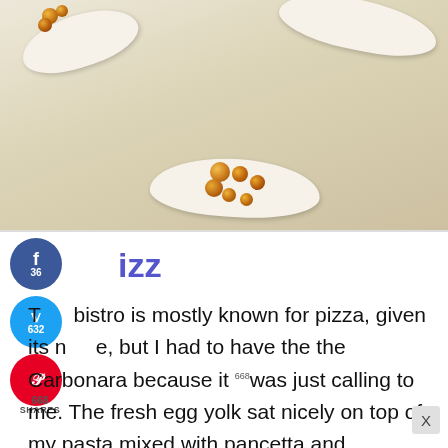[Figure (photo): Photo of amber/orange gel beads or caviar-style food on white ceramic spoons against a light background]
[Figure (infographic): Social sharing buttons: Facebook (36), Twitter (632), Pinterest, with 668 total shares label]
izz
This bistro is mostly known for pizza, given its name, but I had to have the the Carbonara because it was just calling to me. The fresh egg yolk sat nicely on top of my pasta mixed with pancetta and parmesan cheese. We ate outside on the patio even though it was a bit brisk, because the sun h